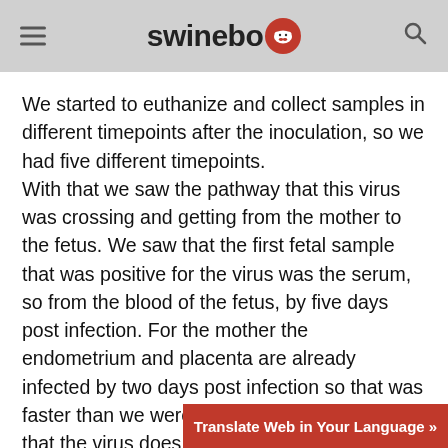swineweb
We started to euthanize and collect samples in different timepoints after the inoculation, so we had five different timepoints. With that we saw the pathway that this virus was crossing and getting from the mother to the fetus. We saw that the first fetal sample that was positive for the virus was the serum, so from the blood of the fetus, by five days post infection. For the mother the endometrium and placenta are already infected by two days post infection so that was faster than we were expecting but it shows that the virus does infect first the endometrial tissues then the placenta and then goes to the fetal serum then it goes to the fetal thymus and there is where the virus really increases its replication and makes home in the fetus.
Translate Web in Your Language »